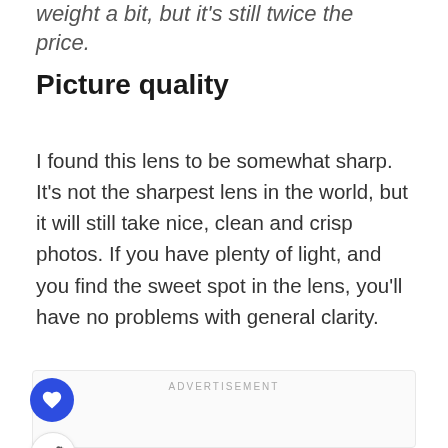weight a bit, but it's still twice the price.
Picture quality
I found this lens to be somewhat sharp. It's not the sharpest lens in the world, but it will still take nice, clean and crisp photos. If you have plenty of light, and you find the sweet spot in the lens, you'll have no problems with general clarity.
ADVERTISEMENT